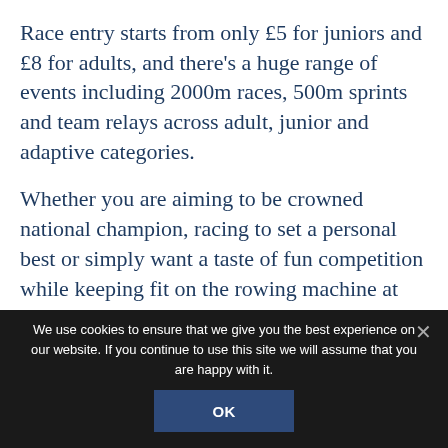Race entry starts from only £5 for juniors and £8 for adults, and there's a huge range of events including 2000m races, 500m sprints and team relays across adult, junior and adaptive categories.
Whether you are aiming to be crowned national champion, racing to set a personal best or simply want a taste of fun competition while keeping fit on the rowing machine at home, the British Rowing Virtual Championships offers something
We use cookies to ensure that we give you the best experience on our website. If you continue to use this site we will assume that you are happy with it.